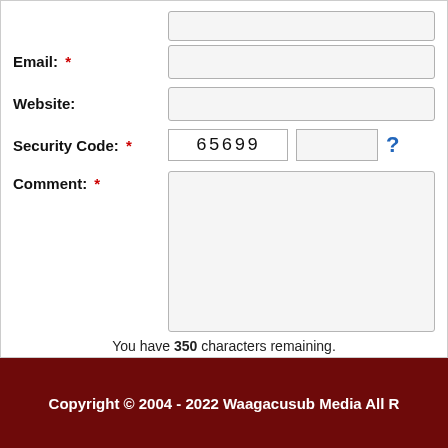Email: *
Website:
Security Code: * 65699 ?
Comment: *
You have 350 characters remaining.
Add Comment
Reset Form
Copyright © 2004 - 2022 Waagacusub Media All R